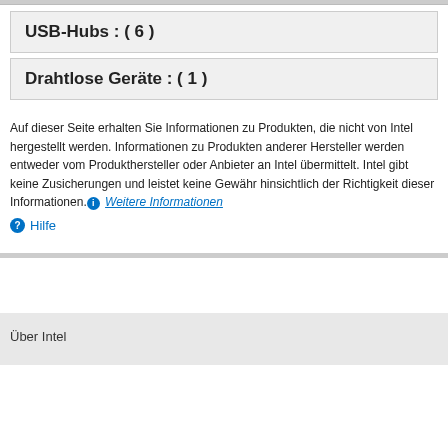USB-Hubs : ( 6 )
Drahtlose Geräte : ( 1 )
Auf dieser Seite erhalten Sie Informationen zu Produkten, die nicht von Intel hergestellt werden. Informationen zu Produkten anderer Hersteller werden entweder vom Produkthersteller oder Anbieter an Intel übermittelt. Intel gibt keine Zusicherungen und leistet keine Gewähr hinsichtlich der Richtigkeit dieser Informationen. ℹ Weitere Informationen
? Hilfe
Über Intel